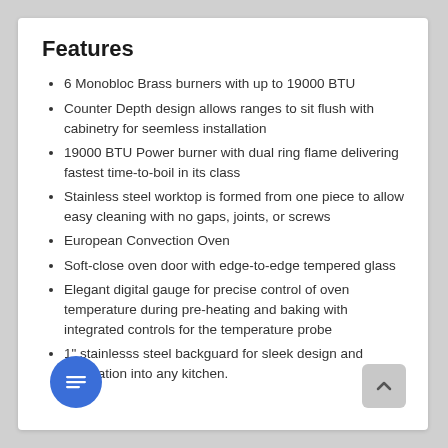Features
6 Monobloc Brass burners with up to 19000 BTU
Counter Depth design allows ranges to sit flush with cabinetry for seemless installation
19000 BTU Power burner with dual ring flame delivering fastest time-to-boil in its class
Stainless steel worktop is formed from one piece to allow easy cleaning with no gaps, joints, or screws
European Convection Oven
Soft-close oven door with edge-to-edge tempered glass
Elegant digital gauge for precise control of oven temperature during pre-heating and baking with integrated controls for the temperature probe
1" stainlesss steel backguard for sleek design and integration into any kitchen.